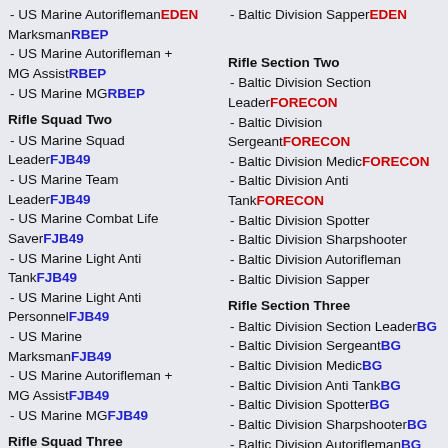- US Marine AutoriflemanEDEN
MarksmanRBEP
- Baltic Division SapperEDEN
- US Marine Autorifleman + MG AssistRBEP
Rifle Section Two
- US Marine MGRBEP
- Baltic Division Section LeaderFORECON
- Baltic Division SergeantFORECON
Rifle Squad Two
- Baltic Division MedicFORECON
- US Marine Squad LeaderFJB49
- Baltic Division Anti TankFORECON
- US Marine Team LeaderFJB49
- Baltic Division Spotter
- US Marine Combat Life SaverFJB49
- Baltic Division Sharpshooter
- US Marine Light Anti TankFJB49
- Baltic Division Autorifleman
- US Marine Light Anti PersonnelFJB49
- Baltic Division Sapper
- US Marine MarksmanFJB49
Rifle Section Three
- US Marine Autorifleman + MG AssistFJB49
- Baltic Division Section LeaderBG
- US Marine MGFJB49
- Baltic Division SergeantBG
- Baltic Division MedicBG
- Baltic Division Anti TankBG
Rifle Squad Three
- Baltic Division SpotterBG
- Baltic Division SharpshooterBG
- Baltic Division AutoriflemanBG